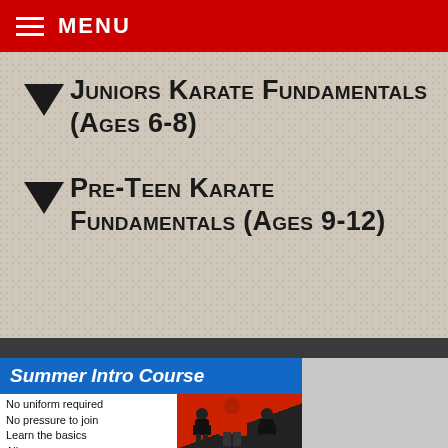MENU
Juniors Karate Fundamentals (Ages 6-8)
Pre-Teen Karate Fundamentals (Ages 9-12)
[Figure (photo): Summer Intro Course advertisement banner showing karate instructor with children students. Text reads: Summer Intro Course, No uniform required, No pressure to join, Learn the basics, All age groups, Learn More button.]